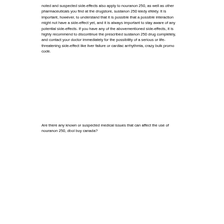noted and suspected side-effects also apply to nouranon 250, as well as other pharmaceuticals you find at the drugstore, sustanon 250 kiedy efekty. It is important, however, to understand that it is possible that a possible interaction might not have a side-effect yet, and it is always important to stay aware of any potential side-effects. If you have any of the abovementioned side-effects, it is highly recommend to discontinue the prescribed sustanon 250 drug completely, and contact your doctor immediately for the possibility of a serious or life-threatening side-effect like liver failure or cardiac arrhythmia, crazy bulk promo code.
Are there any known or suspected medical issues that can affect the use of nouranon 250, dbol buy canada?